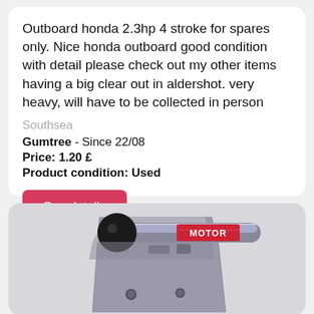Outboard honda 2.3hp 4 stroke for spares only. Nice honda outboard good condition with detail please check out my other items having a big clear out in aldershot. very heavy, will have to be collected in person
Southsea
Gumtree  - Since 22/08
Price: 1.20 £
Product condition: Used
See details
[Figure (photo): Photo of an outboard motor component, showing a metal/silver mechanical part with a black round knob and a red label reading 'MOTOR' on what appears to be a grey painted bracket or mount with some small hardware visible.]